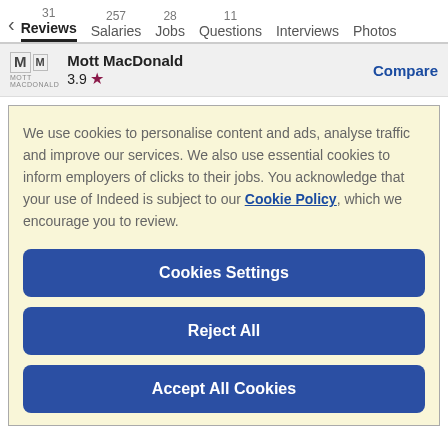< 31 Reviews   257 Salaries   28 Jobs   11 Questions   Interviews   Photos
Mott MacDonald 3.9 ★   Compare
We use cookies to personalise content and ads, analyse traffic and improve our services. We also use essential cookies to inform employers of clicks to their jobs. You acknowledge that your use of Indeed is subject to our Cookie Policy, which we encourage you to review.
Cookies Settings
Reject All
Accept All Cookies